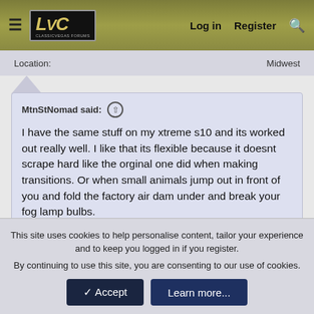LVC — Log in  Register  🔍
Location: Midwest
MtnStNomad said: ↑

I have the same stuff on my xtreme s10 and its worked out really well. I like that its flexible because it doesnt scrape hard like the orginal one did when making transitions. Or when small animals jump out in front of you and fold the factory air dam under and break your fog lamp bulbs.

I think the brand was EZ Lip ... basically garage door gasket but more durable material. But for 70 bucks or so I have no complaints

Click to expand...
Yeah I went down to my local Hardware store and bought some black bolts and black matching nuts ...I'm in MN with nasty winters so I didn't trust the 3M tape adhesive that these are
This site uses cookies to help personalise content, tailor your experience and to keep you logged in if you register.
By continuing to use this site, you are consenting to our use of cookies.
✓ Accept    Learn more...